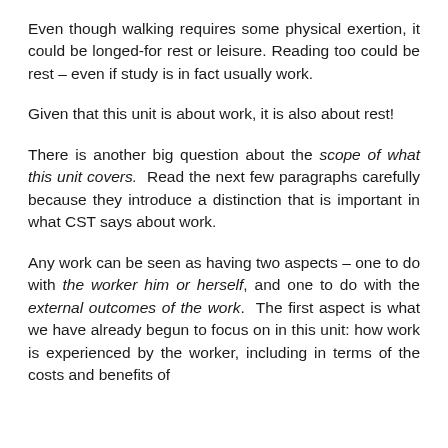Even though walking requires some physical exertion, it could be longed-for rest or leisure. Reading too could be rest – even if study is in fact usually work.
Given that this unit is about work, it is also about rest!
There is another big question about the scope of what this unit covers. Read the next few paragraphs carefully because they introduce a distinction that is important in what CST says about work.
Any work can be seen as having two aspects – one to do with the worker him or herself, and one to do with the external outcomes of the work. The first aspect is what we have already begun to focus on in this unit: how work is experienced by the worker, including in terms of the costs and benefits of